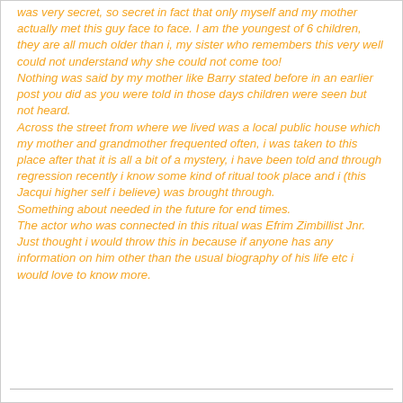was very secret, so secret in fact that only myself and my mother actually met this guy face to face. I am the youngest of 6 children, they are all much older than i, my sister who remembers this very well could not understand why she could not come too! Nothing was said by my mother like Barry stated before in an earlier post you did as you were told in those days children were seen but not heard. Across the street from where we lived was a local public house which my mother and grandmother frequented often, i was taken to this place after that it is all a bit of a mystery, i have been told and through regression recently i know some kind of ritual took place and i (this Jacqui higher self i believe) was brought through. Something about needed in the future for end times. The actor who was connected in this ritual was Efrim Zimbillist Jnr. Just thought i would throw this in because if anyone has any information on him other than the usual biography of his life etc i would love to know more.